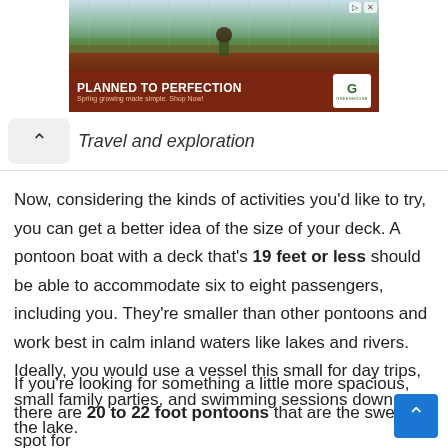[Figure (photo): Advertisement banner showing a greenhouse with a worker tending plants. Bottom section has dark red/brown background with text 'PLANNED TO PERFECTION' and 'Spring growing made simple. Shop Now!' with a Greenhouse logo on the right.]
Travel and exploration
Now, considering the kinds of activities you'd like to try, you can get a better idea of the size of your deck. A pontoon boat with a deck that's 19 feet or less should be able to accommodate six to eight passengers, including you. They're smaller than other pontoons and work best in calm inland waters like lakes and rivers. Ideally, you would use a vessel this small for day trips, small family parties, and swimming sessions down at the lake.
If you're looking for something a little more spacious, there are 20 to 22 foot pontoons that are the sweet spot for